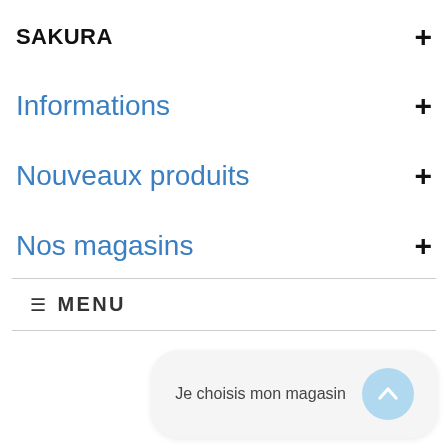SAKURA
Informations
Nouveaux produits
Nos magasins
≡  MENU
Je choisis mon magasin